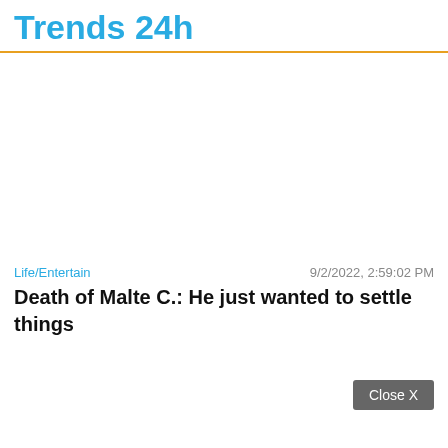Trends 24h
Life/Entertain      9/2/2022, 2:59:02 PM
Death of Malte C.: He just wanted to settle things
Close X